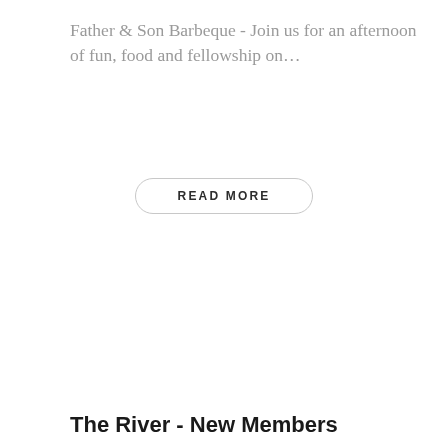Father & Son Barbeque - Join us for an afternoon of fun, food and fellowship on...
READ MORE
The River - New Members